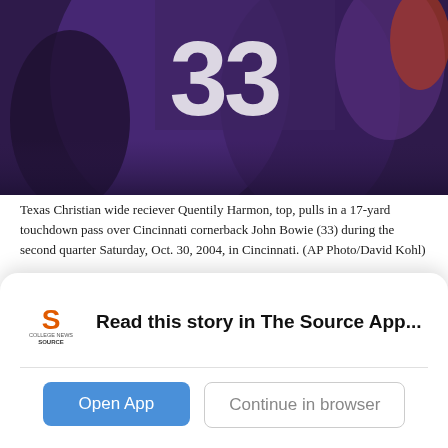[Figure (photo): Football action photo showing Texas Christian wide receiver Quentily Harmon pulling in a touchdown pass over Cincinnati cornerback John Bowie (33), jersey number visible in purple uniform]
Texas Christian wide reciever Quentily Harmon, top, pulls in a 17-yard touchdown pass over Cincinnati cornerback John Bowie (33) during the second quarter Saturday, Oct. 30, 2004, in Cincinnati. (AP Photo/David Kohl)
TCU was gaining ground and proving the nation wrong as underdogs once again under a new conference. The Frogs remained nationally ranked for the entire season of 2003, finishing the regular season with only one loss.
Read this story in The Source App...
Open App
Continue in browser